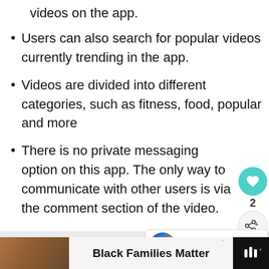videos on the app.
Users can also search for popular videos currently trending in the app.
Videos are divided into different categories, such as fitness, food, popular and more
There is no private messaging option on this app. The only way to communicate with other users is via the comment section of the video.
[Figure (screenshot): Social sharing sidebar with teal heart button, count of 2, and share button]
[Figure (screenshot): What's Next card showing thumbnail and text: Is houseparty app safe?...]
[Figure (infographic): Ad banner: Black Families Matter with image of people on left and dark logo on right]